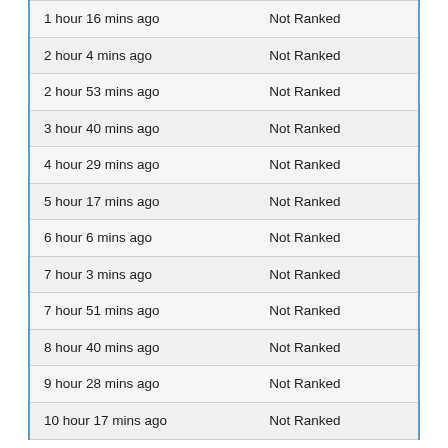| Time | Rank |
| --- | --- |
| 1 hour 16 mins ago | Not Ranked |
| 2 hour 4 mins ago | Not Ranked |
| 2 hour 53 mins ago | Not Ranked |
| 3 hour 40 mins ago | Not Ranked |
| 4 hour 29 mins ago | Not Ranked |
| 5 hour 17 mins ago | Not Ranked |
| 6 hour 6 mins ago | Not Ranked |
| 7 hour 3 mins ago | Not Ranked |
| 7 hour 51 mins ago | Not Ranked |
| 8 hour 40 mins ago | Not Ranked |
| 9 hour 28 mins ago | Not Ranked |
| 10 hour 17 mins ago | Not Ranked |